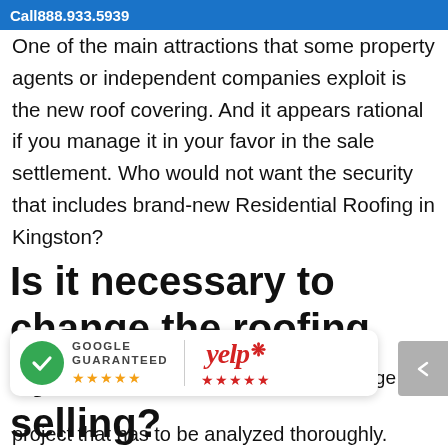Call 888.933.5939
One of the main attractions that some property agents or independent companies exploit is the new roof covering. And it appears rational if you manage it in your favor in the sale settlement. Who would not want the security that includes brand-new Residential Roofing in Kingston?
Is it necessary to change the roofing system before selling?
[Figure (logo): Google Guaranteed badge with green checkmark and 5 orange stars, and Yelp logo with 5 red stars]
ering is a huge project that has to be analyzed thoroughly.